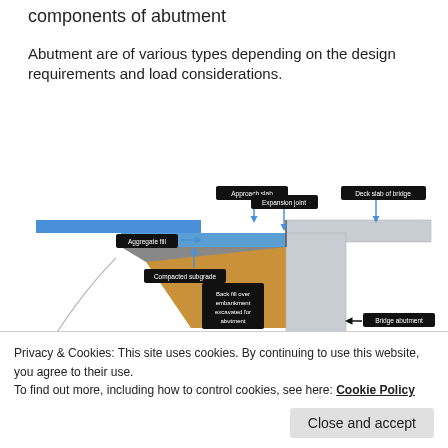components of abutment
Abutment are of various types depending on the design requirements and load considerations.
[Figure (engineering-diagram): Cross-section diagram of a bridge abutment showing labeled components: Approach slab, Expansion joint, Deck slab of bridge, Aggregate fill, Compacted subgrade, Back fill over embankment excavated for abutment, Bridge abutment.]
Privacy & Cookies: This site uses cookies. By continuing to use this website, you agree to their use.
To find out more, including how to control cookies, see here: Cookie Policy
Close and accept